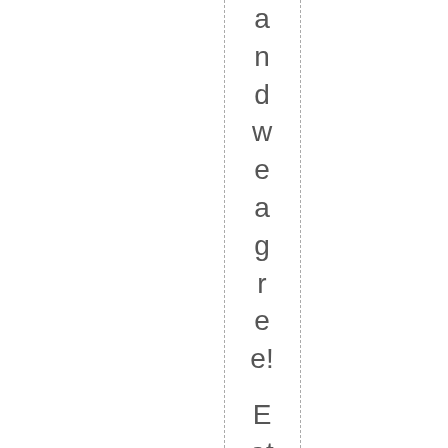and we agree! Eat Local Week is upo